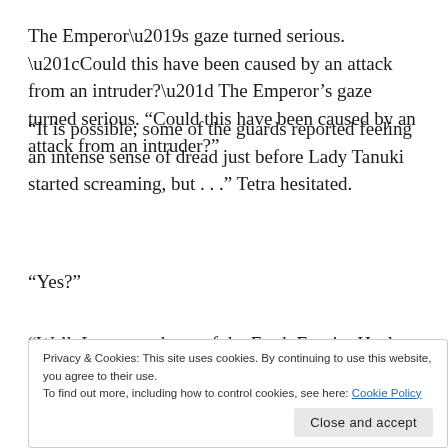The Emperor’s gaze turned serious. “Could this have been caused by an attack from an intruder?”
“It is possible; some of the guards reported feeling an intense sense of dread just before Lady Tanuki started screaming, but . . .” Tetra hesitated.
“Yes?”
“Well, I contacted one of the Earth Empire Healers
Privacy & Cookies: This site uses cookies. By continuing to use this website, you agree to their use.
To find out more, including how to control cookies, see here: Cookie Policy
Close and accept